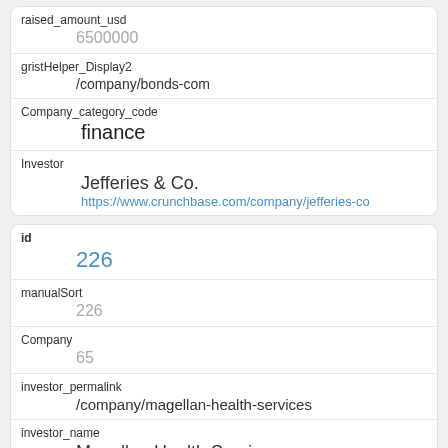| raised_amount_usd | 6500000 |
| gristHelper_Display2 | /company/bonds-com |
| Company_category_code | finance |
| Investor | Jefferies & Co.
https://www.crunchbase.com/company/jefferies-co |
| id | 226 |
| manualSort | 226 |
| Company | 65 |
| investor_permalink | /company/magellan-health-services |
| investor_name | Magellan Health Services |